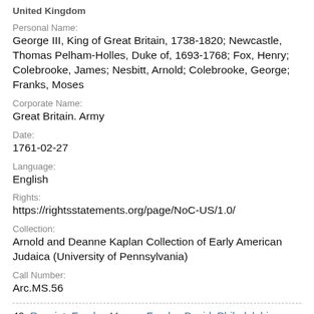United Kingdom
Personal Name:
George III, King of Great Britain, 1738-1820; Newcastle, Thomas Pelham-Holles, Duke of, 1693-1768; Fox, Henry; Colebrooke, James; Nesbitt, Arnold; Colebrooke, George; Franks, Moses
Corporate Name:
Great Britain. Army
Date:
1761-02-27
Language:
English
Rights:
https://rightsstatements.org/page/NoC-US/1.0/
Collection:
Arnold and Deanne Kaplan Collection of Early American Judaica (University of Pennsylvania)
Call Number:
Arc.MS.56
40. Receipt; Franks, Moses; Franks, David; Philadelphia,